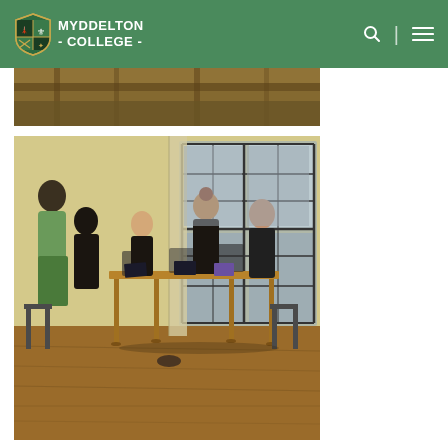MYDDELTON COLLEGE
[Figure (photo): Partial view of a wooden ceiling or interior architectural element at the top]
[Figure (photo): Students sitting around a wooden table in a classroom with large arched windows, working on tablets and papers. One standing student in a green jacket appears to be a teacher or helper. The room has wooden floors and cream-colored walls.]